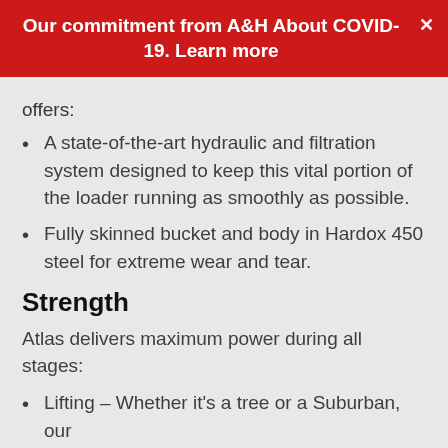Our commitment from A&H About COVID-19. Learn more
offers:
A state-of-the-art hydraulic and filtration system designed to keep this vital portion of the loader running as smoothly as possible.
Fully skinned bucket and body in Hardox 450 steel for extreme wear and tear.
Strength
Atlas delivers maximum power during all stages:
Lifting – Whether it's a tree or a Suburban, our